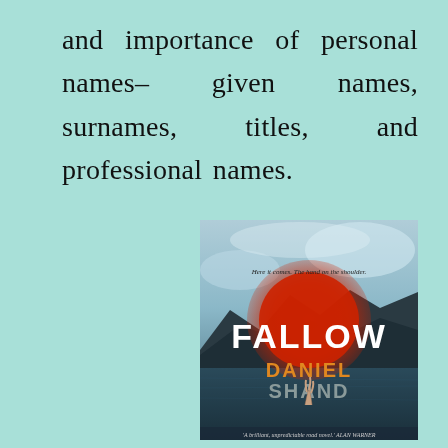and importance of personal names– given names, surnames, titles, and professional names.
[Figure (photo): Book cover of 'Fallow' by Daniel Shand. Features a dramatic sky with a large red glowing circle/sun in the center, dark mountainous landscape and water below. The title 'FALLOW' is displayed in large white letters, and 'DANIEL SHAND' in orange/gold and grey letters. A tagline reads 'Here it comes. The hand on the shoulder.' At the bottom: 'A brilliant, unpredictable road novel.' ALAN WARNER]